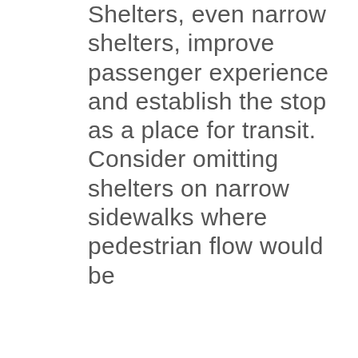Shelters, even narrow shelters, improve passenger experience and establish the stop as a place for transit. Consider omitting shelters on narrow sidewalks where pedestrian flow would be